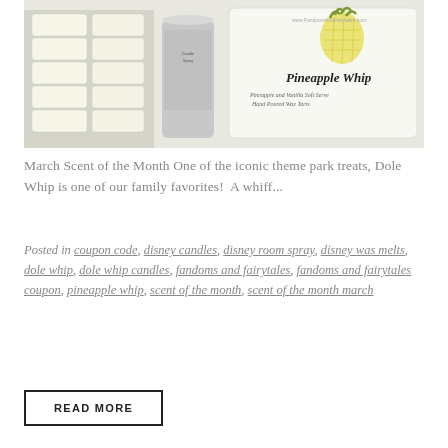[Figure (photo): Photo of Pineapple Whip scented wax melts and candle products on a white surface. Includes wax melt packaging, a silver cylindrical container, and a square card labeled 'Pineapple Whip – Pineapple and Vanilla Soft Serve Hand Poured Wax Tarts'.]
March Scent of the Month One of the iconic theme park treats, Dole Whip is one of our family favorites!  A whiff...
Posted in coupon code, disney candles, disney room spray, disney was melts, dole whip, dole whip candles, fandoms and fairytales, fandoms and fairytales coupon, pineapple whip, scent of the month, scent of the month march
READ MORE